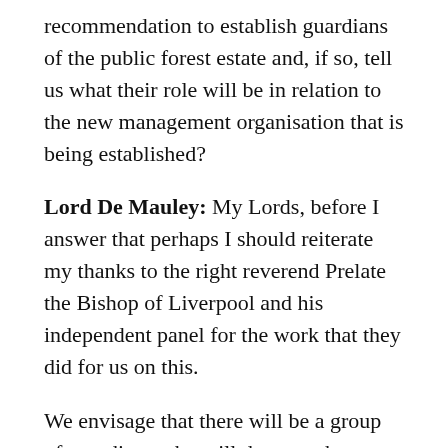recommendation to establish guardians of the public forest estate and, if so, tell us what their role will be in relation to the new management organisation that is being established?
Lord De Mauley: My Lords, before I answer that perhaps I should reiterate my thanks to the right reverend Prelate the Bishop of Liverpool and his independent panel for the work that they did for us on this.
We envisage that there will be a group of guardians who will draw on the interests and expertise of public forest users and will be able to advise and support the delivery of the new body's remit. The guardians will be focused on